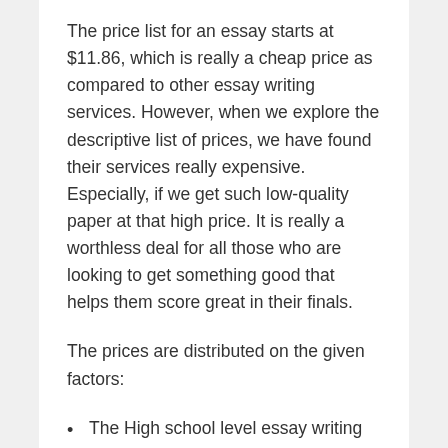The price list for an essay starts at $11.86, which is really a cheap price as compared to other essay writing services. However, when we explore the descriptive list of prices, we have found their services really expensive. Especially, if we get such low-quality paper at that high price. It is really a worthless deal for all those who are looking to get something good that helps them score great in their finals.
The prices are distributed on the given factors:
The High school level essay writing services start from $11.86 for 20 days to $34.95 for 3 hours.